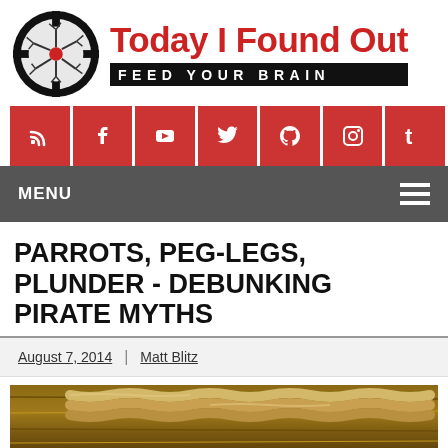[Figure (logo): Today I Found Out logo: circular crosshair with neural/tree pattern in center, red title text 'Today I Found Out', black banner 'FEED YOUR BRAIN']
[Figure (infographic): Social media icons bar with 8 red square buttons: RSS, Facebook, YouTube, Twitter, Pinterest, Google+, Instagram, Tumblr]
MENU
PARROTS, PEG-LEGS, PLUNDER - DEBUNKING PIRATE MYTHS
August 7, 2014 | Matt Blitz
[Figure (photo): Partial photo of rope/braided rope on wooden surface, brown tones]